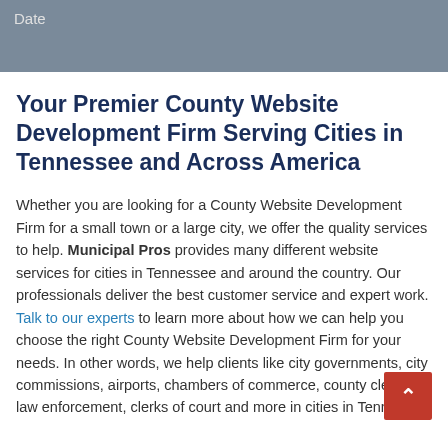[Figure (photo): Gray banner/header image with 'Date' label visible in the top left corner, appearing to show a blurred background of documents or a calendar.]
Your Premier County Website Development Firm Serving Cities in Tennessee and Across America
Whether you are looking for a County Website Development Firm for a small town or a large city, we offer the quality services to help. Municipal Pros provides many different website services for cities in Tennessee and around the country. Our professionals deliver the best customer service and expert work. Talk to our experts to learn more about how we can help you choose the right County Website Development Firm for your needs. In other words, we help clients like city governments, city commissioners, airports, chambers of commerce, county clerks, law enforcement, clerks of court and more in cities in Tennessee